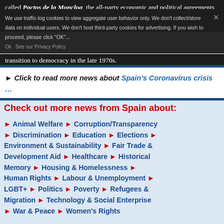called Pactos de la Moncloa, the all-party economic and political agreements to address inflation and unemployment during the Spain's transition to democracy in the late 1970s.
We use traffic-log cookies to view aggregate user behavior only. We don't collect/store data on individual users. We don't host third-party cookies for advertising. If you wish to proceed, please click "OK"... Ok See our Privacy Policy
► Click to read more news about Spain's Coronavirus crisis …
Check out more news from Spain about:
► Animal Welfare ► Corruption/Transparency
► Discrimination ► Education ► Elections ► Environment & Sustainability ► Fair Trade & Development Aid ► Healthcare ► Historical Memory ► Housing & Homelessness ► Human Rights ► Labour & Unemployment ► LGBT+ ► Politics ► Poverty ► Refugees & Migration ► Technology & Social Enterprise ► War & Peace ► Women's Rights